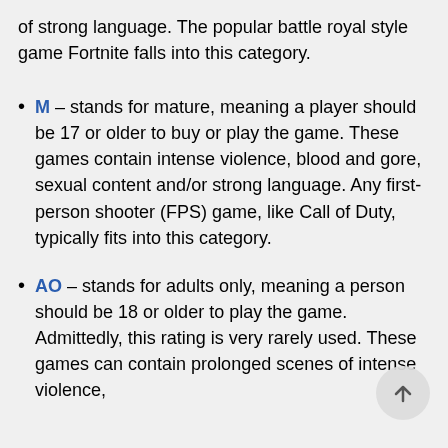of strong language. The popular battle royal style game Fortnite falls into this category.
M – stands for mature, meaning a player should be 17 or older to buy or play the game. These games contain intense violence, blood and gore, sexual content and/or strong language. Any first-person shooter (FPS) game, like Call of Duty, typically fits into this category.
AO – stands for adults only, meaning a person should be 18 or older to play the game. Admittedly, this rating is very rarely used. These games can contain prolonged scenes of intense violence,